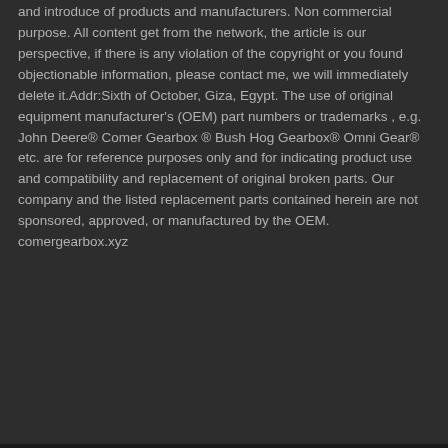and introduce of products and manufacturers. Non commercial purpose. All content get from the network, the article is our perspective, if there is any violation of the copyright or you found objectionable information, please contact me, we will immediately delete it.Addr:Sixth of October, Giza, Egypt. The use of original equipment manufacturer's (OEM) part numbers or trademarks , e.g. John Deere® Comer Gearbox ® Bush Hog Gearbox® Omni Gear® etc. are for reference purposes only and for indicating product use and compatibility and replacement of original broken parts. Our company and the listed replacement parts contained herein are not sponsored, approved, or manufactured by the OEM. comergearbox.xyz